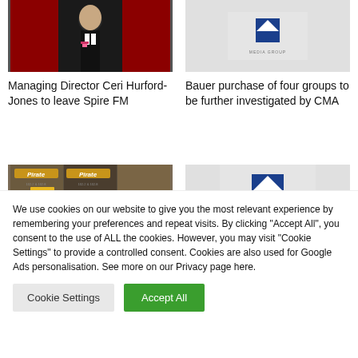[Figure (photo): Man in black tuxedo with pink boutonniere against red background]
[Figure (logo): Bauer Media Group logo on grey background]
Managing Director Ceri Hurford-Jones to leave Spire FM
Bauer purchase of four groups to be further investigated by CMA
[Figure (photo): Pirate FM radio station signage with golden trophies]
[Figure (logo): Bauer Media Group logo on grey background]
We use cookies on our website to give you the most relevant experience by remembering your preferences and repeat visits. By clicking "Accept All", you consent to the use of ALL the cookies. However, you may visit "Cookie Settings" to provide a controlled consent. Cookies are also used for Google Ads personalisation. See more on our Privacy page here.